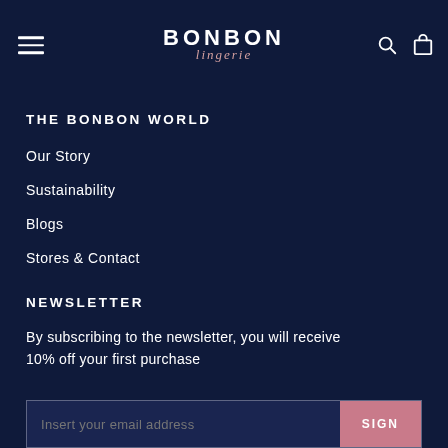BONBON lingerie — navigation header with hamburger menu, logo, search and cart icons
THE BONBON WORLD
Our Story
Sustainability
Blogs
Stores & Contact
NEWSLETTER
By subscribing to the newsletter, you will receive 10% off your first purchase
Insert your email address